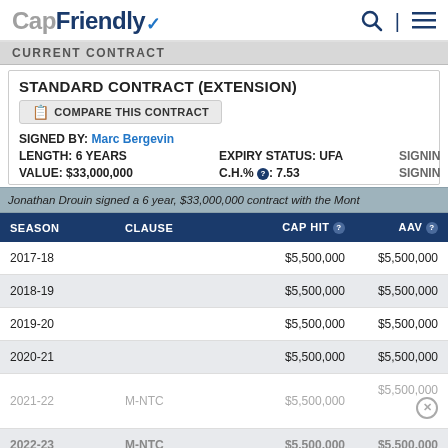CapFriendly
CURRENT CONTRACT
STANDARD CONTRACT (EXTENSION)
COMPARE THIS CONTRACT
SIGNED BY: Marc Bergevin
LENGTH: 6 YEARS   EXPIRY STATUS: UFA   SIGNIN
VALUE: $33,000,000   C.H.% : 7.53   SIGNIN
Jonathan Drouin signed a 6 year, $33,000,000 contract with the Mont
| SEASON | CLAUSE | CAP HIT | AAV |
| --- | --- | --- | --- |
| 2017-18 |  | $5,500,000 | $5,500,000 |
| 2018-19 |  | $5,500,000 | $5,500,000 |
| 2019-20 |  | $5,500,000 | $5,500,000 |
| 2020-21 |  | $5,500,000 | $5,500,000 |
| 2021-22 | M-NTC | $5,500,000 | $5,500,000 |
| 2022-23 | M-NTC | $5,500,000 | $5,500,000 |